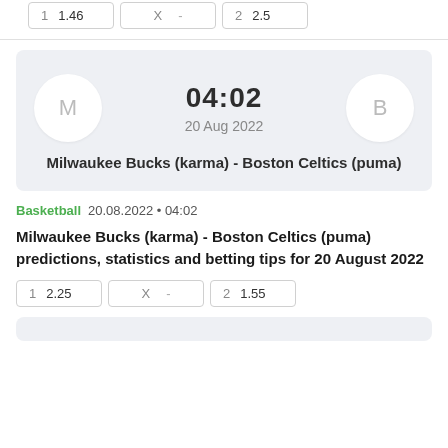| 1 | X | 2 |
| --- | --- | --- |
| 1.46 | - | 2.5 |
[Figure (infographic): Match card showing M (Milwaukee) vs B (Boston) icons, time 04:02, date 20 Aug 2022, and team names Milwaukee Bucks (karma) - Boston Celtics (puma)]
Basketball  20.08.2022 • 04:02
Milwaukee Bucks (karma) - Boston Celtics (puma) predictions, statistics and betting tips for 20 August 2022
| 1 | X | 2 |
| --- | --- | --- |
| 2.25 | - | 1.55 |